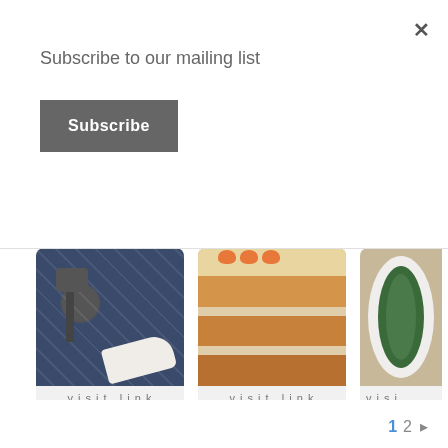Subscribe to our mailing list
Subscribe
×
[Figure (photo): Image of a hammer and white sneaker shoe on a dark blue geometric patterned background]
visit link
97. How to Tidy Your Home in Just 15 Minutes a Day
[Figure (photo): Close-up image of a layered carrot cake slice with white frosting and orange carrot decorations on top]
visit link
98. How to Make the Best Carrot Cake
[Figure (photo): Partially visible image of a bowl of green kale salad on a wooden surface]
visit
99. Extra Cr... Kale...
1  2  ›